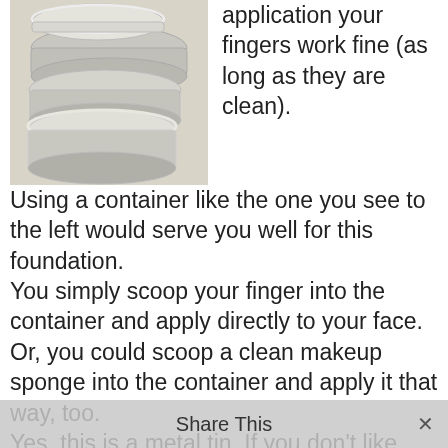[Figure (photo): Several round silver/aluminum metal tins stacked and arranged on a light surface.]
application your fingers work fine (as long as they are clean).
Using a container like the one you see to the left would serve you well for this foundation.
You simply scoop your finger into the container and apply directly to your face. Or, you could scoop a clean makeup sponge into the container and apply it that way, too.
Yes, this is a metal tin. If you don't like metal tins, you might like the
Share This